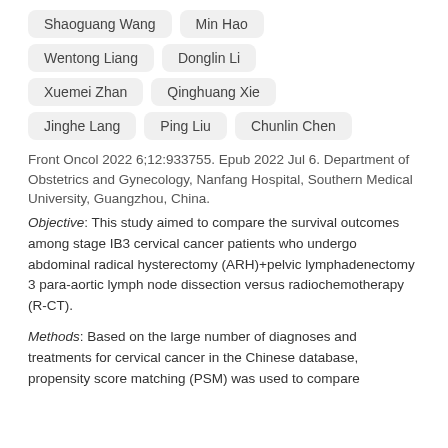Shaoguang Wang
Min Hao
Wentong Liang
Donglin Li
Xuemei Zhan
Qinghuang Xie
Jinghe Lang
Ping Liu
Chunlin Chen
Front Oncol 2022 6;12:933755. Epub 2022 Jul 6. Department of Obstetrics and Gynecology, Nanfang Hospital, Southern Medical University, Guangzhou, China.
Objective: This study aimed to compare the survival outcomes among stage IB3 cervical cancer patients who undergo abdominal radical hysterectomy (ARH)+pelvic lymphadenectomy 3 para-aortic lymph node dissection versus radiochemotherapy (R-CT).
Methods: Based on the large number of diagnoses and treatments for cervical cancer in the Chinese database, propensity score matching (PSM) was used to compare